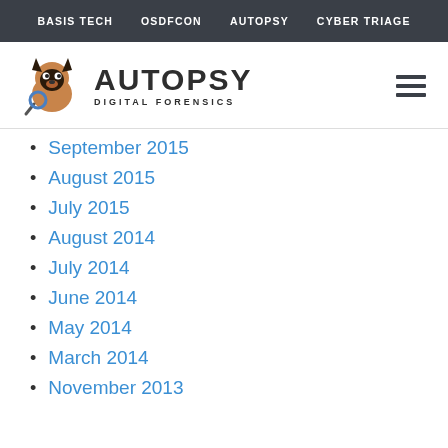BASIS TECH   OSDFCON   AUTOPSY   CYBER TRIAGE
[Figure (logo): Autopsy Digital Forensics logo with doberman dog mascot and text AUTOPSY DIGITAL FORENSICS]
September 2015
August 2015
July 2015
August 2014
July 2014
June 2014
May 2014
March 2014
November 2013